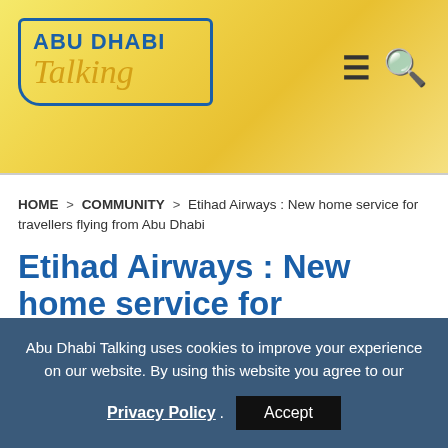[Figure (logo): Abu Dhabi Talking logo with blue border speech bubble, 'ABU DHABI' in bold blue and 'Talking' in gold italic script]
Abu Dhabi Talking - navigation hamburger menu and search icon
HOME > COMMUNITY > Etihad Airways : New home service for travellers flying from Abu Dhabi
Etihad Airways : New home service for travellers flying from Abu Dhabi
Abu Dhabi Talking uses cookies to improve your experience on our website. By using this website you agree to our Privacy Policy. Accept